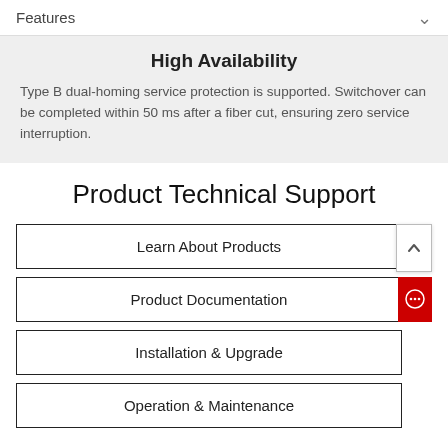Features
High Availability
Type B dual-homing service protection is supported. Switchover can be completed within 50 ms after a fiber cut, ensuring zero service interruption.
Product Technical Support
Learn About Products
Product Documentation
Installation & Upgrade
Operation & Maintenance